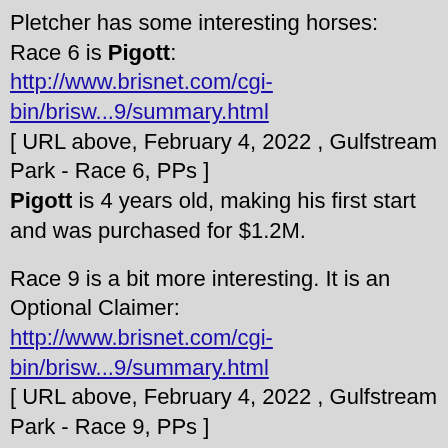Pletcher has some interesting horses:
Race 6 is Pigott:
http://www.brisnet.com/cgi-bin/brisw...9/summary.html
[ URL above, February 4, 2022 , Gulfstream Park - Race 6, PPs ]
Pigott is 4 years old, making his first start and was purchased for $1.2M.
Race 9 is a bit more interesting. It is an Optional Claimer:
http://www.brisnet.com/cgi-bin/brisw...9/summary.html
[ URL above, February 4, 2022 , Gulfstream Park - Race 9, PPs ]
In this race are the first time winners Iron Works and American Icon. They both appear to have talent, and either one, or both can find themselves on the KY Derby trail in short order, with a good race today.
Larry
DevilHorse